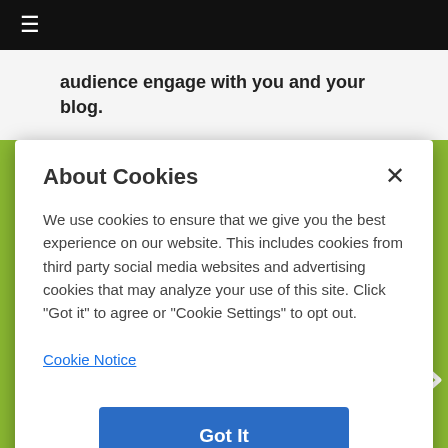≡
audience engage with you and your blog.
About Cookies
We use cookies to ensure that we give you the best experience on our website. This includes cookies from third party social media websites and advertising cookies that may analyze your use of this site. Click "Got it" to agree or "Cookie Settings" to opt out.
Cookie Notice
Got It
Cookies Settings